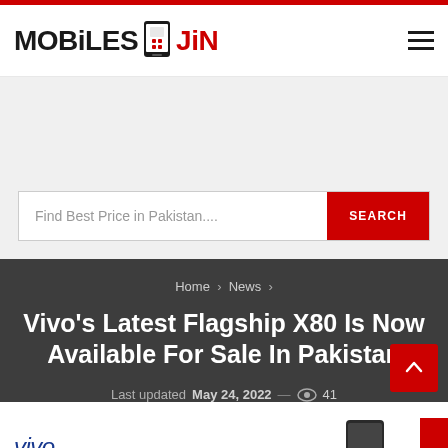MOBILES JIN
Find Best Price in Pakistan....
SEARCH
Home > News >
Vivo's Latest Flagship X80 Is Now Available For Sale In Pakistan
Last updated May 24, 2022 — 41
[Figure (screenshot): Vivo brand logo with partial phone image at bottom of page]